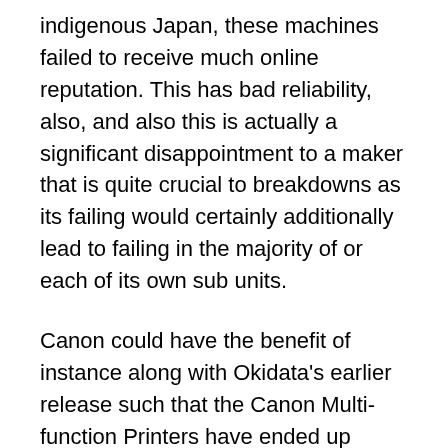indigenous Japan, these machines failed to receive much online reputation. This has bad reliability, also, and also this is actually a significant disappointment to a maker that is quite crucial to breakdowns as its failing would certainly additionally lead to failing in the majority of or each of its own sub units.
Canon could have the benefit of instance along with Okidata's earlier release such that the Canon Multi-function Printers have ended up being a bench marking entry for other launches.